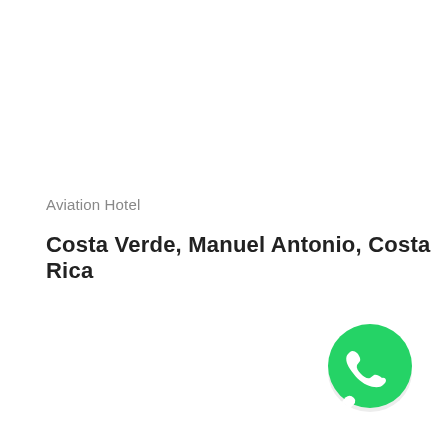Aviation Hotel
Costa Verde, Manuel Antonio, Costa Rica
[Figure (logo): WhatsApp logo: green circle with white telephone handset icon and a white speech bubble tail at the bottom right]